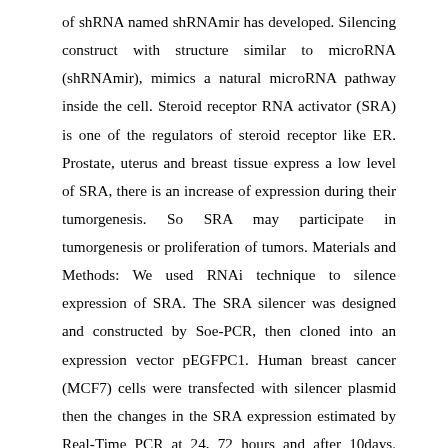of shRNA named shRNAmir has developed. Silencing construct with structure similar to microRNA (shRNAmir), mimics a natural microRNA pathway inside the cell. Steroid receptor RNA activator (SRA) is one of the regulators of steroid receptor like ER. Prostate, uterus and breast tissue express a low level of SRA, there is an increase of expression during their tumorgenesis. So SRA may participate in tumorgenesis or proliferation of tumors. Materials and Methods: We used RNAi technique to silence expression of SRA. The SRA silencer was designed and constructed by Soe-PCR, then cloned into an expression vector pEGFPC1. Human breast cancer (MCF7) cells were transfected with silencer plasmid then the changes in the SRA expression estimated by Real-Time PCR at 24, 72 hours and after 10days. Result: The results showed about 60% decrease in relative expression of SRA gene, after 72